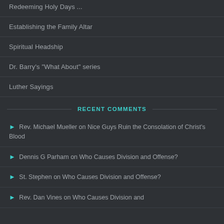Redeeming Holy Days ...
Establishing the Family Altar
Spiritual Headship
Dr. Barry's "What About" series
Luther Sayings
RECENT COMMENTS
Rev. Michael Mueller on Nice Guys Ruin the Consolation of Christ's Blood
Dennis G Parham on Who Causes Division and Offense?
St. Stephen on Who Causes Division and Offense?
Rev. Dan Vines on Who Causes Division and